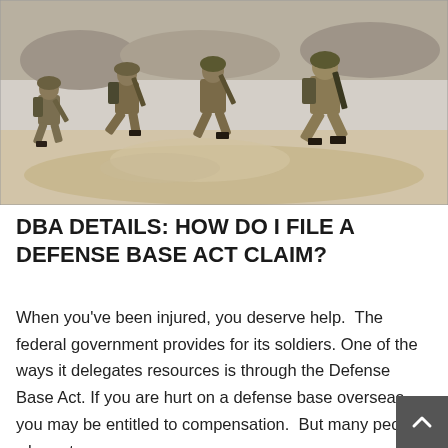[Figure (photo): Military soldiers in combat gear running across sandy terrain carrying rifles]
DBA DETAILS: HOW DO I FILE A DEFENSE BASE ACT CLAIM?
When you've been injured, you deserve help.  The federal government provides for its soldiers. One of the ways it delegates resources is through the Defense Base Act. If you are hurt on a defense base overseas, you may be entitled to compensation.  But many people who get